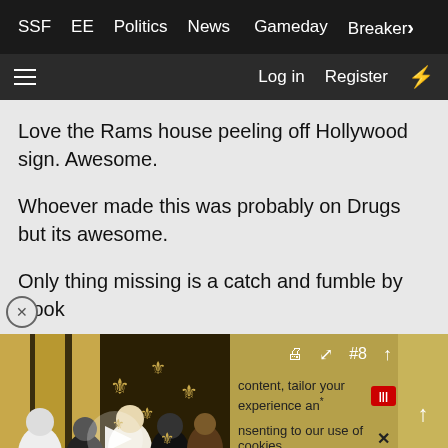SSF  EE  Politics  News  Gameday  Breakers
Log in  Register
Love the Rams house peeling off Hollywood sign. Awesome.
Whoever made this was probably on Drugs but its awesome.
Only thing missing is a catch and fumble by Cook
[Figure (screenshot): Video thumbnail showing people at a press conference with New Orleans Saints branding, with a play button overlay. Icons for bookmark, share, #8 and upvote visible on right.]
content, tailor your experience and
nsenting to our use of cookies.
Accept  Learn more...